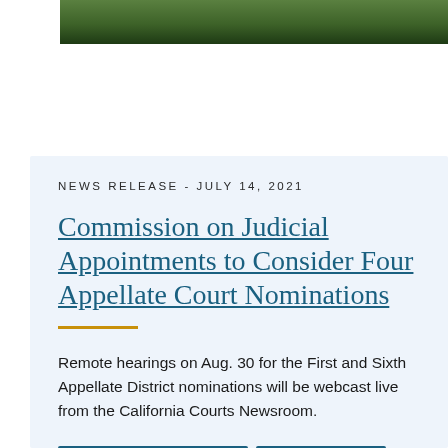[Figure (photo): Partial view of outdoor photo showing green grass/lawn area, cropped at top of page]
NEWS RELEASE - JULY 14, 2021
Commission on Judicial Appointments to Consider Four Appellate Court Nominations
Remote hearings on Aug. 30 for the First and Sixth Appellate District nominations will be webcast live from the California Courts Newsroom.
FIRST APPELLATE DISTRICT  SIXTH APPELLATE